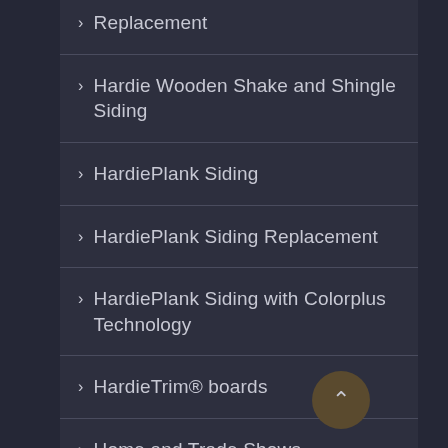Replacement
Hardie Wooden Shake and Shingle Siding
HardiePlank Siding
HardiePlank Siding Replacement
HardiePlank Siding with Colorplus Technology
HardieTrim® boards
Home and Trade Shows
Home Exterior Maintenance and